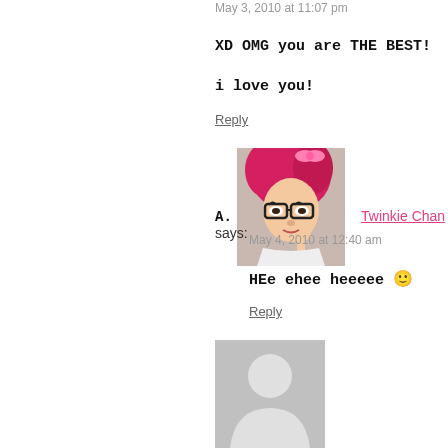May 3, 2010 at 11:07 pm
XD OMG you are THE BEST!
i love you!
Reply
[Figure (photo): Profile photo of Twinkie Chan: woman with bright pink/red hair, glasses, white outfit, pointing finger at chin]
A. Twinkie Chan says:
May 4, 2010 at 12:40 am
HEe ehee heeeee 🙂
Reply
[Figure (photo): Gray generic user avatar placeholder silhouette]